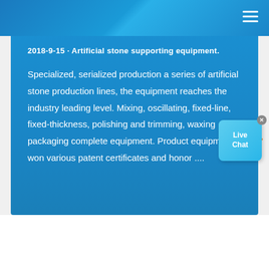2018-9-15 · Artificial stone supporting equipment. Specialized, serialized production a series of artificial stone production lines, the equipment reaches the industry leading level. Mixing, oscillating, fixed-line, fixed-thickness, polishing and trimming, waxing packaging complete equipment. Product equipment won various patent certificates and honor ....
[Figure (other): Live Chat widget button with blue background showing 'Live Chat' text and a close button]